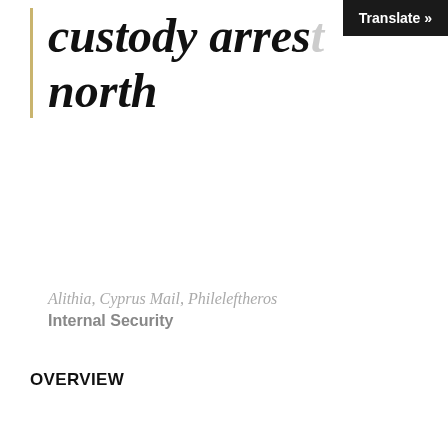custody arrested in north
Alithia, Cyprus Mail, Phileleftheros
Internal Security
OVERVIEW
A 24-year-old man who escaped from a Limassol police station early in September has been arrested in the north, the dailies report.
The suspect was initially arrested by police along with another man, 35, after being found